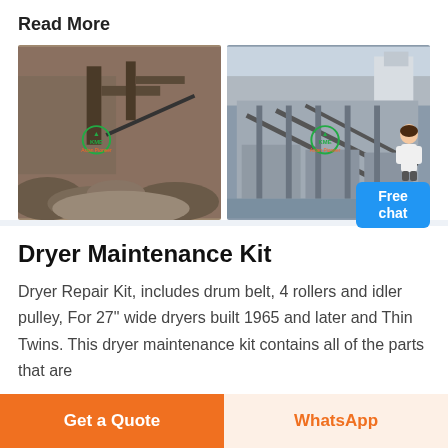Read More
[Figure (photo): Two industrial site photos side by side: left shows a stone crusher/quarry operation with rubble and machinery, right shows an aerial view of a processing plant with conveyor structures. Both have KME logo watermarks. A customer service person figure and 'Free chat' button overlay the right side.]
Dryer Maintenance Kit
Dryer Repair Kit, includes drum belt, 4 rollers and idler pulley, For 27" wide dryers built 1965 and later and Thin Twins. This dryer maintenance kit contains all of the parts that are
Get a Quote
WhatsApp